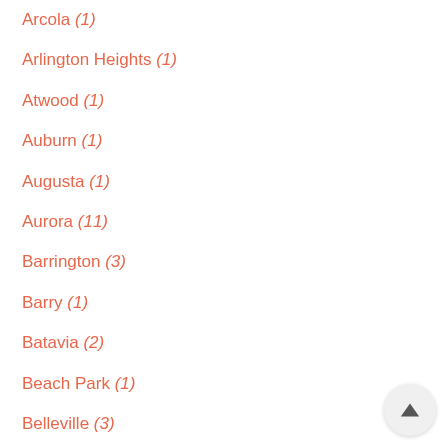Arcola (1)
Arlington Heights (1)
Atwood (1)
Auburn (1)
Augusta (1)
Aurora (11)
Barrington (3)
Barry (1)
Batavia (2)
Beach Park (1)
Belleville (3)
Bensenville (1)